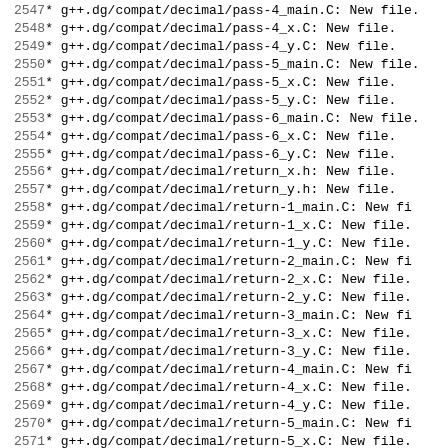2547     * g++.dg/compat/decimal/pass-4_main.C: New file.
2548     * g++.dg/compat/decimal/pass-4_x.C: New file.
2549     * g++.dg/compat/decimal/pass-4_y.C: New file.
2550     * g++.dg/compat/decimal/pass-5_main.C: New file.
2551     * g++.dg/compat/decimal/pass-5_x.C: New file.
2552     * g++.dg/compat/decimal/pass-5_y.C: New file.
2553     * g++.dg/compat/decimal/pass-6_main.C: New file.
2554     * g++.dg/compat/decimal/pass-6_x.C: New file.
2555     * g++.dg/compat/decimal/pass-6_y.C: New file.
2556     * g++.dg/compat/decimal/return_x.h: New file.
2557     * g++.dg/compat/decimal/return_y.h: New file.
2558     * g++.dg/compat/decimal/return-1_main.C: New fi
2559     * g++.dg/compat/decimal/return-1_x.C: New file.
2560     * g++.dg/compat/decimal/return-1_y.C: New file.
2561     * g++.dg/compat/decimal/return-2_main.C: New fi
2562     * g++.dg/compat/decimal/return-2_x.C: New file.
2563     * g++.dg/compat/decimal/return-2_y.C: New file.
2564     * g++.dg/compat/decimal/return-3_main.C: New fi
2565     * g++.dg/compat/decimal/return-3_x.C: New file.
2566     * g++.dg/compat/decimal/return-3_y.C: New file.
2567     * g++.dg/compat/decimal/return-4_main.C: New fi
2568     * g++.dg/compat/decimal/return-4_x.C: New file.
2569     * g++.dg/compat/decimal/return-4_y.C: New file.
2570     * g++.dg/compat/decimal/return-5_main.C: New fi
2571     * g++.dg/compat/decimal/return-5_x.C: New file.
2572     * g++.dg/compat/decimal/return-5_y.C: New file.
2573     * g++.dg/compat/decimal/return-6_main.C: New fi
2574     * g++.dg/compat/decimal/return-6_x.C: New file.
2575     * g++.dg/compat/decimal/return-6_y.C: New file.
2576
2577 2010-01-20  Alexandre Oliva  <aoliva@redhat.com>
2578